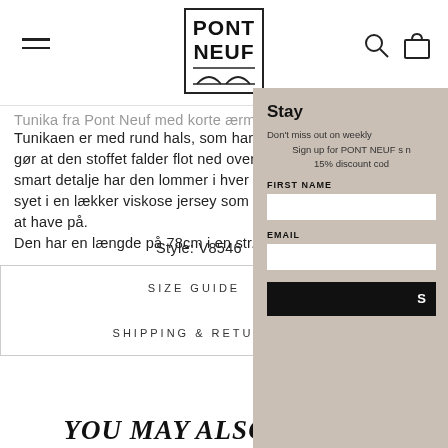[Figure (logo): Pont Neuf logo in a bordered rectangle with arch design at bottom]
Tunika fra Pont Neuf med korte ærmer.
Tunikaen er med rund hals, som har 6 læg foran, som gør at den stoffet falder flot ned over kroppen. Som en smart detalje har den lommer i hver side. Tunikaen er syet i en lækker viskose jersey som er meget behagelig at have på.
Den har en længde på 78cm i en str. M
Style: V8546
SIZE GUIDE
SHIPPING & RETURN
YOU MAY ALSO LIK
Stay
Don't miss out on weekly
Sign up for PONT NEUF s n
15% discount cod
FIRST NAME
EMAIL